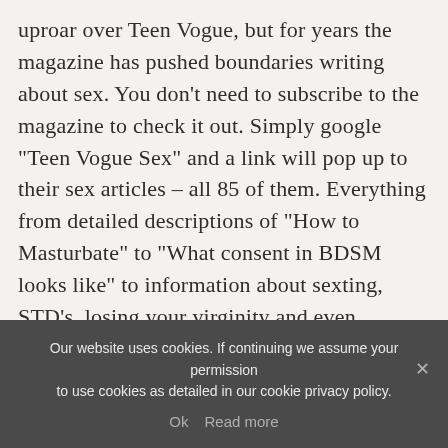uproar over Teen Vogue, but for years the magazine has pushed boundaries writing about sex. You don’t need to subscribe to the magazine to check it out. Simply google “Teen Vogue Sex” and a link will pop up to their sex articles – all 85 of them. Everything from detailed descriptions of “How to Masturbate” to “What consent in BDSM looks like” to information about sexting, STD’s, losing your virginity and even LGBTQ issues. And it is all easily available online at any age for easy reading. These topics may sound extreme but I’m guessing that Teen Vogue is simply responding to real
Our website uses cookies. If continuing we assume your permission to use cookies as detailed in our cookie privacy policy. Ok Read more